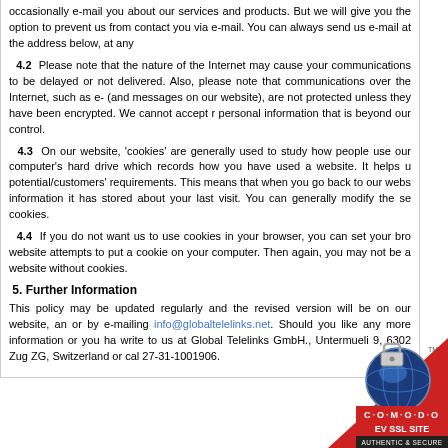occasionally e-mail you about our services and products. But we will give you the option to prevent us from contacting you via e-mail. You can always send us e-mail at the address below, at any time.
4.2 Please note that the nature of the Internet may cause your communications to be delayed or not delivered. Also, please note that communications over the Internet, such as e-mails (and messages on our website), are not protected unless they have been encrypted. We cannot accept responsibility for any delay or personal information that is beyond our control.
4.3 On our website, 'cookies' are generally used to study how people use our website. A cookie is a file on a computer's hard drive which records how you have used a website. It helps us to identify and serve our potential/customers' requirements. This means that when you go back to our website, it will be able to present information it has stored about your last visit. You can generally modify the settings of your browser to refuse cookies.
4.4 If you do not want us to use cookies in your browser, you can set your browser to notify you when a website attempts to put a cookie on your computer. Then again, you may not be able to use all features of our website without cookies.
5. Further Information
This policy may be updated regularly and the revised version will be on our website, and you can find out more or by e-mailing info@globaltelelinks.net. Should you like any more information or you have a complaint, please write to us at Global Telelinks GmbH., Untermueli 9, 6302 Zug ZG, Switzerland or call us on +41 (0) 27-31-1001906.
[Figure (logo): Comodo EV SSL Site Authentic & Secure badge with globe and padlock icon]